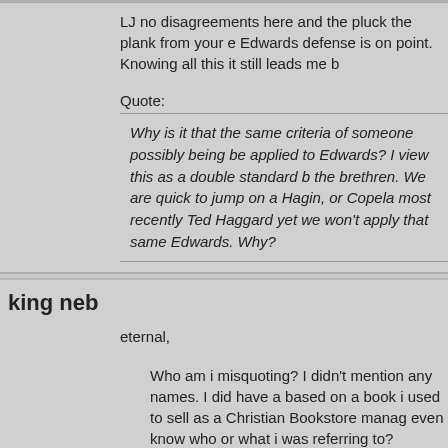LJ no disagreements here and the pluck the plank from your e Edwards defense is on point. Knowing all this it still leads me b
Quote:
Why is it that the same criteria of someone possibly being be applied to Edwards? I view this as a double standard b the brethren. We are quick to jump on a Hagin, or Copela most recently Ted Haggard yet we won't apply that same Edwards. Why?
king neb
eternal,
Who am i misquoting? I didn't mention any names. I did have a based on a book i used to sell as a Christian Bookstore manag even know who or what i was referring to?